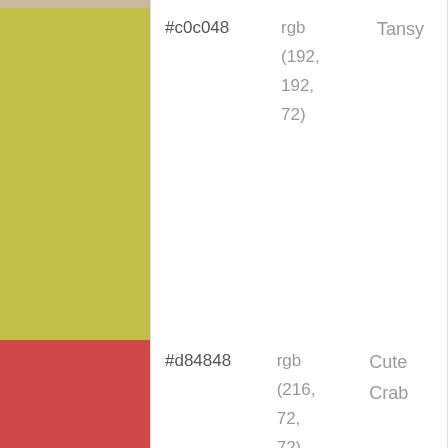[Figure (illustration): Color swatch for Tansy (#c0c048), a yellow-green color, shown as a tall vertical rectangle on the left side of the page. A small beige/tan strip appears at the very top.]
#c0c048   rgb (192, 192, 72)   Tansy
[Figure (illustration): Color swatch for Cute Crab (#d84848), a red color, shown as a tall vertical rectangle on the left side.]
#d84848   rgb (216, 72, 72)   Cute Crab
[Figure (illustration): Color swatch for Pollen (#f0f0a8), a pale yellow color, shown as a tall vertical rectangle on the left side.]
#f0f0a8   rgb (240, 240, 168)   Pollen